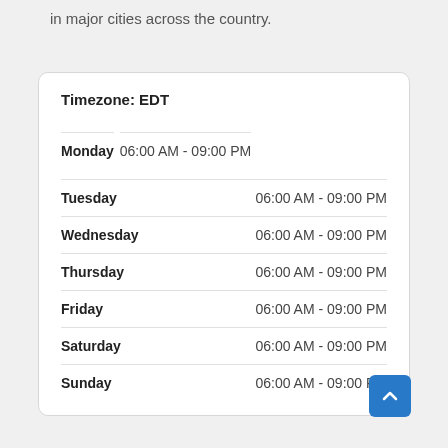in major cities across the country.
| Timezone: EDT |  |
| --- | --- |
| Monday | 06:00 AM - 09:00 PM |
| Tuesday | 06:00 AM - 09:00 PM |
| Wednesday | 06:00 AM - 09:00 PM |
| Thursday | 06:00 AM - 09:00 PM |
| Friday | 06:00 AM - 09:00 PM |
| Saturday | 06:00 AM - 09:00 PM |
| Sunday | 06:00 AM - 09:00 PM |